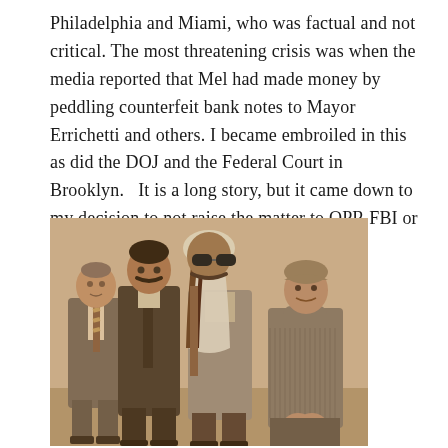Philadelphia and Miami, who was factual and not critical. The most threatening crisis was when the media reported that Mel had made money by peddling counterfeit bank notes to Mayor Errichetti and others. I became embroiled in this as did the DOJ and the Federal Court in Brooklyn.   It is a long story, but it came down to my decision to not raise the matter to OPR FBI or nor DOJ, which could have sabotaged the integrity of the FBI and a US Attorney in Brooklyn.
[Figure (photo): Sepia-toned photograph of four people standing together: two men in suits on the left, a man in the center wearing sunglasses and an Arab headdress, and a woman on the right wearing a turtleneck sweater.]